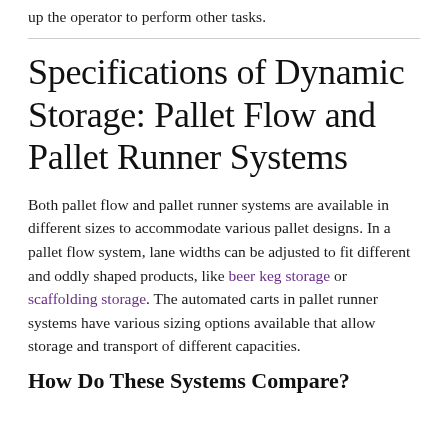up the operator to perform other tasks.
Specifications of Dynamic Storage: Pallet Flow and Pallet Runner Systems
Both pallet flow and pallet runner systems are available in different sizes to accommodate various pallet designs. In a pallet flow system, lane widths can be adjusted to fit different and oddly shaped products, like beer keg storage or scaffolding storage. The automated carts in pallet runner systems have various sizing options available that allow storage and transport of different capacities.
How Do These Systems Compare?